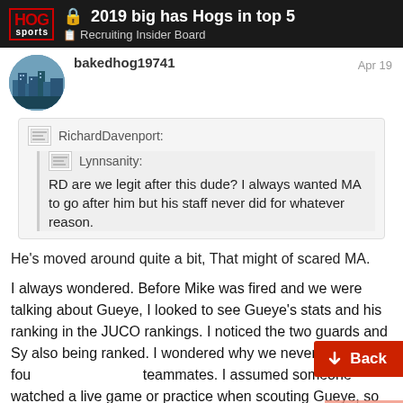🔒 2019 big has Hogs in top 5 | Recruiting Insider Board
bakedhog19741   Apr 19
RichardDavenport:
  Lynnsanity:
  RD are we legit after this dude? I always wanted MA to go after him but his staff never did for whatever reason.
He's moved around quite a bit, That might of scared MA.
I always wondered. Before Mike was fired and we were talking about Gueye, I looked to see Gueye's stats and his ranking in the JUCO rankings. I noticed the two guards and Sy also being ranked. I wondered why we never offered all four teammates. I assumed someone watched a live game or practice when scouting Gueye, so I'd assu others. The article you listed actually has a